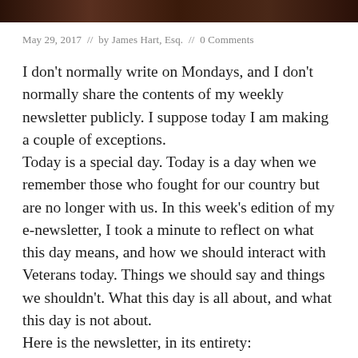[Figure (photo): Dark banner image at top of page, appears to show people or a crowd in muted dark tones]
May 29, 2017  //  by James Hart, Esq.  //  0 Comments
I don't normally write on Mondays, and I don't normally share the contents of my weekly newsletter publicly. I suppose today I am making a couple of exceptions.
Today is a special day. Today is a day when we remember those who fought for our country but are no longer with us. In this week's edition of my e-newsletter, I took a minute to reflect on what this day means, and how we should interact with Veterans today. Things we should say and things we shouldn't. What this day is all about, and what this day is not about.
Here is the newsletter, in its entirety: